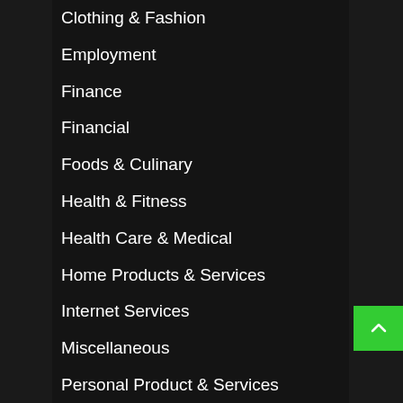Clothing & Fashion
Employment
Finance
Financial
Foods & Culinary
Health & Fitness
Health Care & Medical
Home Products & Services
Internet Services
Miscellaneous
Personal Product & Services
Pets & Animals
Real Estate